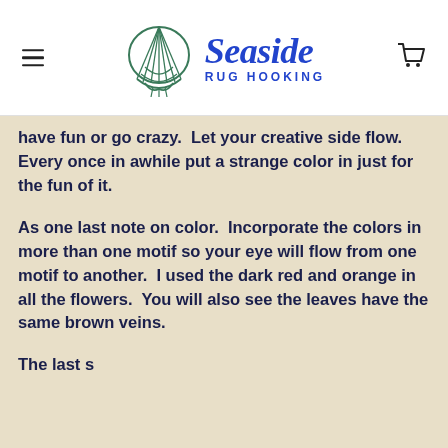[Figure (logo): Seaside Rug Hooking logo with shell icon, hamburger menu on left, cart icon on right]
have fun or go crazy.  Let your creative side flow.   Every once in awhile put a strange color in just for the fun of it.
As one last note on color.  Incorporate the colors in more than one motif so your eye will flow from one motif to another.  I used the dark red and orange in all the flowers.  You will also see the leaves have the same brown veins.
The last sentence starts here and continues...